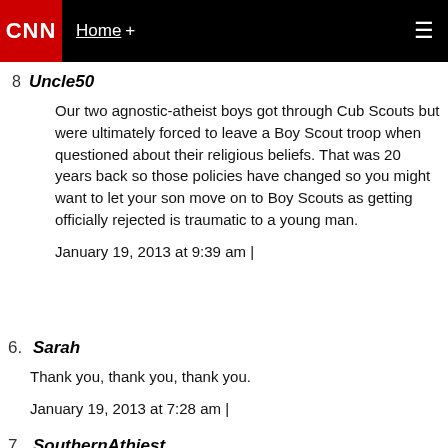CNN | Home +
8. Uncle50 – Our two agnostic-atheist boys got through Cub Scouts but were ultimately forced to leave a Boy Scout troop when questioned about their religious beliefs. That was 20 years back so those policies have changed so you might want to let your son move on to Boy Scouts as getting officially rejected is traumatic to a young man. January 19, 2013 at 9:39 am |
6. Sarah – Thank you, thank you, thank you. January 19, 2013 at 7:28 am |
7. SouthernAthiest – Thanks Deborah. You are a brave, concerned, compassionate, thoughtful parent. I'm certain your words won't change those who believe in a god but they will clearly assist many others who are not comfortable with their beliefs about the supernatural.